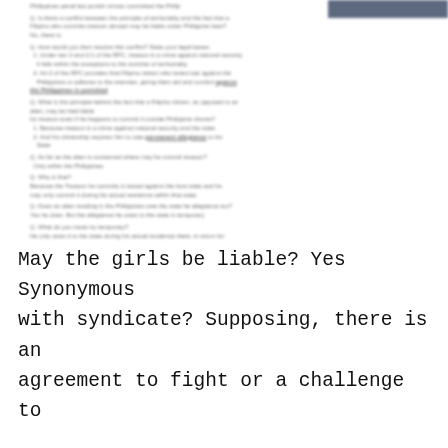[Blurred/redacted top section containing legal Q&A about treason, national security, Filipino citizenship, and Philippine law]
May the girls be liable? Yes Synonymous with syndicate? Supposing, there is an agreement to fight or a challenge to